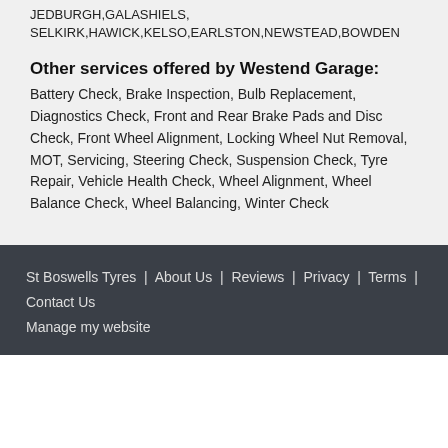JEDBURGH,GALASHIELS, SELKIRK,HAWICK,KELSO,EARLSTON,NEWSTEAD,BOWDEN
Other services offered by Westend Garage:
Battery Check, Brake Inspection, Bulb Replacement, Diagnostics Check, Front and Rear Brake Pads and Disc Check, Front Wheel Alignment, Locking Wheel Nut Removal, MOT, Servicing, Steering Check, Suspension Check, Tyre Repair, Vehicle Health Check, Wheel Alignment, Wheel Balance Check, Wheel Balancing, Winter Check
St Boswells Tyres | About Us | Reviews | Privacy | Terms | Contact Us
Manage my website